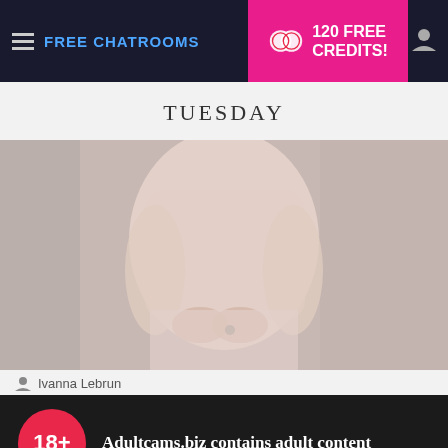FREE CHATROOMS | 120 FREE CREDITS!
TUESDAY
[Figure (photo): Close-up photo of a person wearing a light pink/beige knitted sweater and skirt, hands clasped in front, outdoors with blurred background]
Ivanna Lebrun
18+
Adultcams.biz contains adult content
By using the site, you acknowledge you have read our Privacy Policy, and agree to our Terms and Conditions.
We use cookies to optimize your experience, analyze traffic, and deliver more personalized service. To learn more, please see our Privacy Policy.
I AGREE